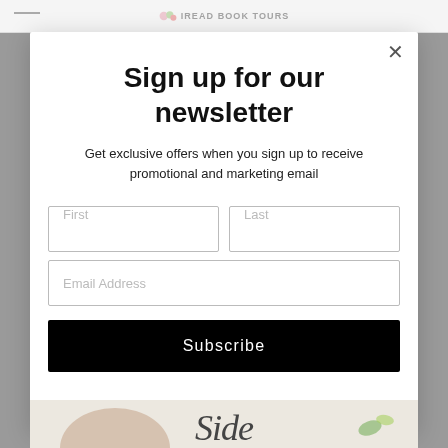IREAD BOOK TOURS (logo/header bar)
Sign up for our newsletter
Get exclusive offers when you sign up to receive promotional and marketing email
[Figure (screenshot): Newsletter signup modal with First/Last name fields, Email Address field, and a black Subscribe button]
[Figure (illustration): Partial book cover illustration at the bottom showing 'Side' text in stylized script font with illustrated female figure]